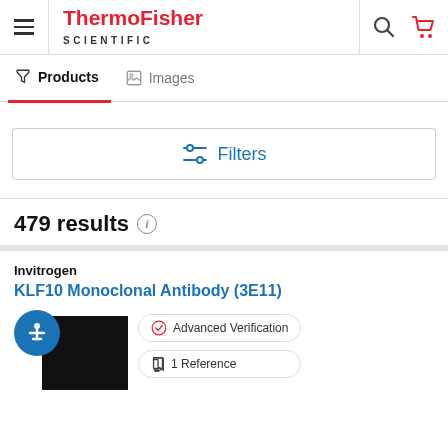[Figure (logo): ThermoFisher Scientific logo with hamburger menu, search icon, and cart icon in header]
Products   Images
[Figure (screenshot): Filters button with sliders icon]
479 results
Invitrogen
KLF10 Monoclonal Antibody (3E11)
Advanced Verification
1 Reference